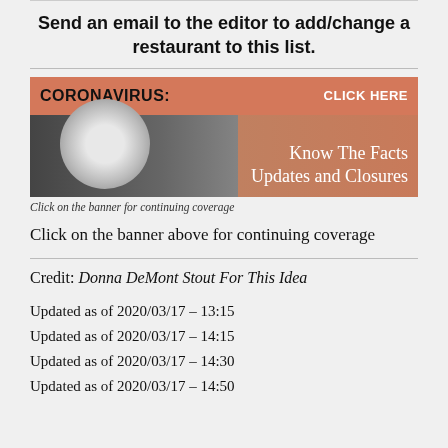Send an email to the editor to add/change a restaurant to this list.
[Figure (infographic): Coronavirus banner with orange header bar reading 'CORONAVIRUS: CLICK HERE', virus image on dark background, white text 'Know The Facts Updates and Closures']
Click on the banner for continuing coverage
Click on the banner above for continuing coverage
Credit: Donna DeMont Stout For This Idea
Updated as of 2020/03/17 – 13:15
Updated as of 2020/03/17 – 14:15
Updated as of 2020/03/17 – 14:30
Updated as of 2020/03/17 – 14:50